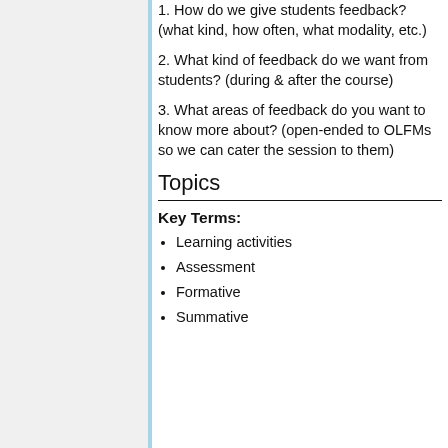1. How do we give students feedback? (what kind, how often, what modality, etc.)
2. What kind of feedback do we want from students? (during & after the course)
3. What areas of feedback do you want to know more about? (open-ended to OLFMs so we can cater the session to them)
Topics
Key Terms:
Learning activities
Assessment
Formative
Summative